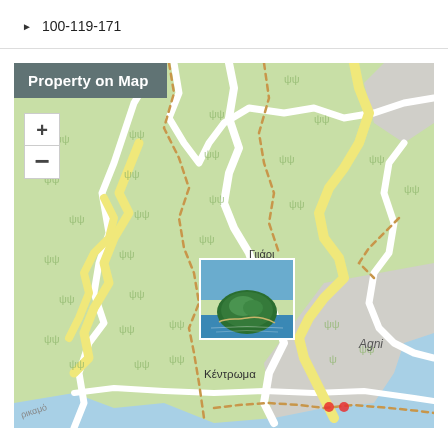100-119-171
[Figure (map): OpenStreetMap-style topographic map showing a Greek coastal area with place names including Γιιάρι, Agni, and Κέντρωμα. Green terrain with roads shown in white and yellow, dashed hiking paths in brown, and a small property photo thumbnail pinned to the map near Γιιάρι. Map includes zoom +/- controls in upper left and a 'Property on Map' label overlaid on the upper portion.]